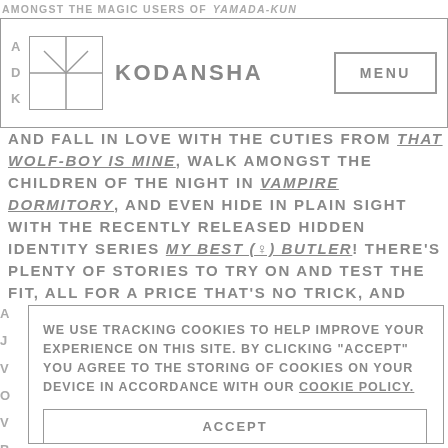AMONGST THE MAGIC USERS OF YAMADA-KUN
[Figure (logo): Kodansha logo with navigation bar including MENU button]
AND FALL IN LOVE WITH THE CUTIES FROM THAT WOLF-BOY IS MINE, WALK AMONGST THE CHILDREN OF THE NIGHT IN VAMPIRE DORMITORY, AND EVEN HIDE IN PLAIN SIGHT WITH THE RECENTLY RELEASED HIDDEN IDENTITY SERIES MY BEST (♀) BUTLER! THERE'S PLENTY OF STORIES TO TRY ON AND TEST THE FIT, ALL FOR A PRICE THAT'S NO TRICK, AND
WE USE TRACKING COOKIES TO HELP IMPROVE YOUR EXPERIENCE ON THIS SITE. BY CLICKING "ACCEPT" YOU AGREE TO THE STORING OF COOKIES ON YOUR DEVICE IN ACCORDANCE WITH OUR COOKIE POLICY.
ACCEPT
MANAGE COOKIES